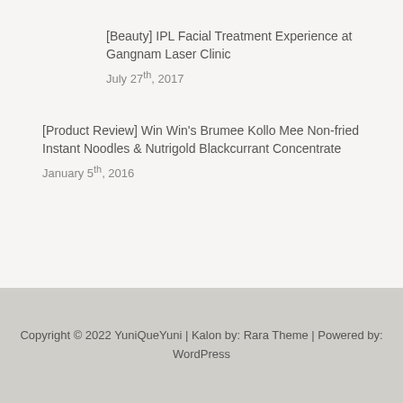[Beauty] IPL Facial Treatment Experience at Gangnam Laser Clinic
July 27th, 2017
[Product Review] Win Win's Brumee Kollo Mee Non-fried Instant Noodles & Nutrigold Blackcurrant Concentrate
January 5th, 2016
Copyright © 2022 YuniQueYuni | Kalon by: Rara Theme | Powered by: WordPress